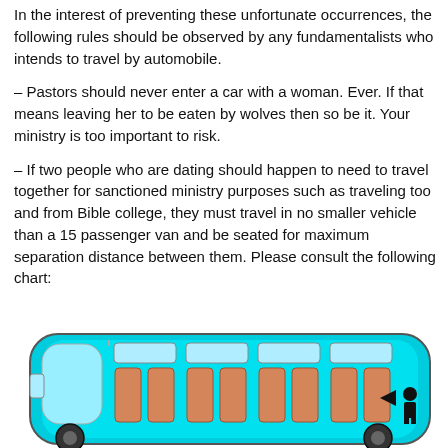In the interest of preventing these unfortunate occurrences, the following rules should be observed by any fundamentalists who intends to travel by automobile.
– Pastors should never enter a car with a woman. Ever. If that means leaving her to be eaten by wolves then so be it. Your ministry is too important to risk.
– If two people who are dating should happen to need to travel together for sanctioned ministry purposes such as traveling too and from Bible college, they must travel in no smaller vehicle than a 15 passenger van and be seated for maximum separation distance between them. Please consult the following chart:
[Figure (illustration): Top-down diagram of a 15-passenger van interior showing rows of seats colored in tan/brown on a cyan background. A person icon (arrow pointing left, indicating direction) is shown at the far right rear seat, suggesting the seating arrangement for maximum separation.]